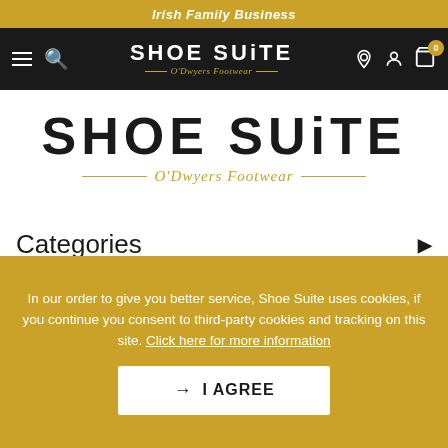Irish Family Business
[Figure (logo): Shoe Suite O'Dwyers Footwear navigation bar with hamburger menu, search icon, brand logo centered, location icon, user icon, and cart with badge showing 0]
[Figure (logo): Large Shoe Suite O'Dwyers Footwear logo with gold decorative lines]
Categories
More Information
Useful Links
In our order to give you better service, Shoe Suite uses cookies, if you continue you consent to third-party cookies and tracking on this site. Click here for more information